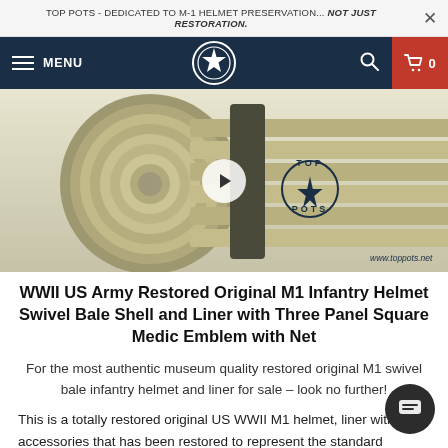TOP POTS - DEDICATED TO M-1 HELMET PRESERVATION... NOT JUST RESTORATION.
[Figure (screenshot): Top Pots website navigation bar with hamburger menu, MENU label, Top Pots star logo, search icon, and red cart icon showing 0]
[Figure (photo): Close-up photo of olive drab/khaki colored WWII M1 helmet chinstrap webbing rolled up, with Top Pots watermark logo and www.toppots.net URL in the bottom right corner. Play button overlay visible.]
WWII US Army Restored Original M1 Infantry Helmet Swivel Bale Shell and Liner with Three Panel Square Medic Emblem with Net
For the most authentic museum quality restored original M1 swivel bale infantry helmet and liner for sale – look no further!
This is a totally restored original US WWII M1 helmet, liner with accessories that has been restored to represent the standard infantry model worn by the US Army units during WWII. This swivel bale helmet restoration has been